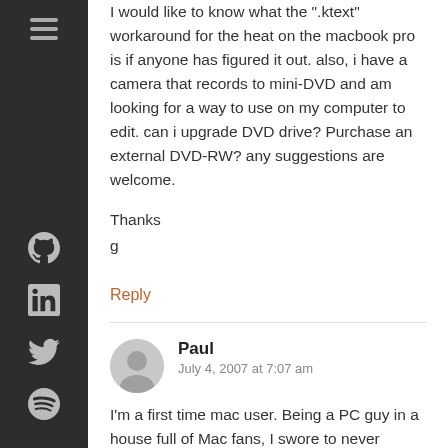I would like to know what the ".ktext" workaround for the heat on the macbook pro is if anyone has figured it out. also, i have a camera that records to mini-DVD and am looking for a way to use on my computer to edit. can i upgrade DVD drive? Purchase an external DVD-RW? any suggestions are welcome.

Thanks

g
Reply
Paul
July 4, 2007 at 7:07 am
I'm a first time mac user. Being a PC guy in a house full of Mac fans, I swore to never MBP...